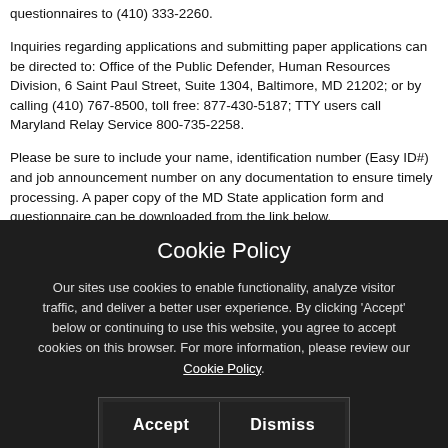questionnaires to (410) 333-2260.
Inquiries regarding applications and submitting paper applications can be directed to: Office of the Public Defender, Human Resources Division, 6 Saint Paul Street, Suite 1304, Baltimore, MD 21202; or by calling (410) 767-8500, toll free: 877-430-5187; TTY users call Maryland Relay Service 800-735-2258.
Please be sure to include your name, identification number (Easy ID#) and job announcement number on any documentation to ensure timely processing. A paper copy of the MD State application form and questionnaire can be downloaded from the link below.
As an equal opportunity employer, Maryland is committed to recruiting, retaining and promoting employees who are reflective of the State's
Cookie Policy
Our sites use cookies to enable functionality, analyze visitor traffic, and deliver a better user experience. By clicking 'Accept' below or continuing to use this website, you agree to accept cookies on this browser. For more information, please review our Cookie Policy.